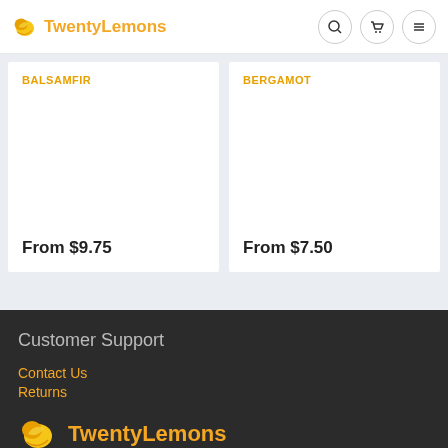TwentyLemons
BALSAMFIR — From $9.75
BERGAMOT — From $7.50
Customer Support
Contact Us
Returns
TwentyLemons